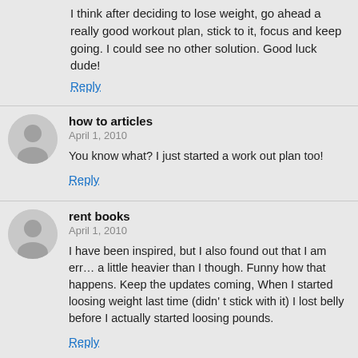I think after deciding to lose weight, go ahead a really good workout plan, stick to it, focus and keep going. I could see no other solution. Good luck dude!
Reply
how to articles
April 1, 2010
You know what? I just started a work out plan too!
Reply
rent books
April 1, 2010
I have been inspired, but I also found out that I am err… a little heavier than I though. Funny how that happens. Keep the updates coming, When I started loosing weight last time (didn' t stick with it) I lost belly before I actually started loosing pounds.
Reply
link building services